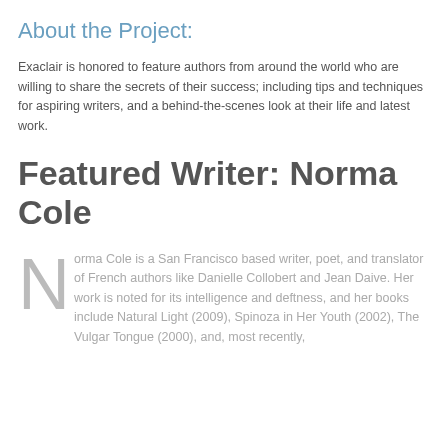About the Project:
Exaclair is honored to feature authors from around the world who are willing to share the secrets of their success; including tips and techniques for aspiring writers, and a behind-the-scenes look at their life and latest work.
Featured Writer: Norma Cole
Norma Cole is a San Francisco based writer, poet, and translator of French authors like Danielle Collobert and Jean Daive. Her work is noted for its intelligence and deftness, and her books include Natural Light (2009), Spinoza in Her Youth (2002), The Vulgar Tongue (2000), and, most recently,